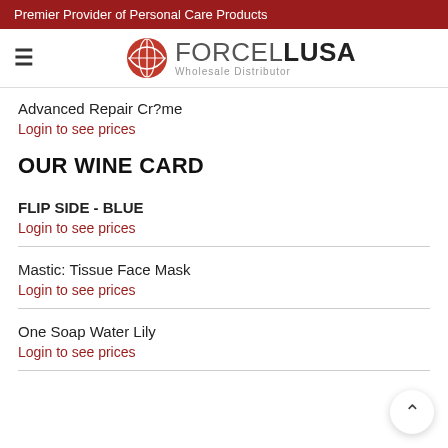Premier Provider of Personal Care Products
[Figure (logo): ForcellUSA Wholesale Distributor logo with red globe icon]
Advanced Repair Cr?me
Login to see prices
OUR WINE CARD
FLIP SIDE - BLUE
Login to see prices
Mastic: Tissue Face Mask
Login to see prices
One Soap Water Lily
Login to see prices